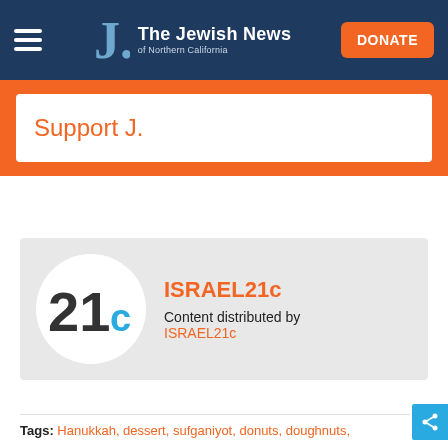The Jewish News of Northern California — DONATE
Support J.
[Figure (logo): ISRAEL21c logo — circle with '21c' text in dark and blue]
ISRAEL21c
Content distributed by ISRAEL21c
Tags: Hanukkah, dessert, sufganiyot, donuts, doughnuts,